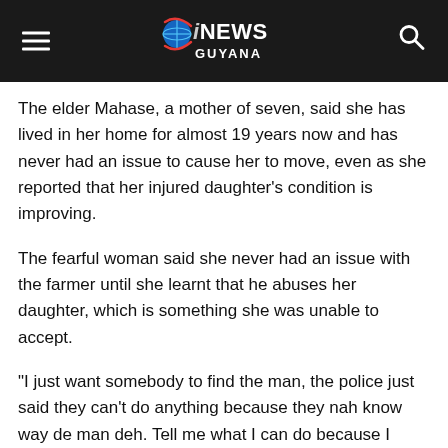iNEWS GUYANA
The elder Mahase, a mother of seven, said she has lived in her home for almost 19 years now and has never had an issue to cause her to move, even as she reported that her injured daughter's condition is improving.
The fearful woman said she never had an issue with the farmer until she learnt that he abuses her daughter, which is something she was unable to accept.
“I just want somebody to find the man, the police just said they can’t do anything because they nah know way de man deh. Tell me what I can do because I mind me children them without a father for over 19 year and now me got to leff me house and go…how lang me gun able fuh hide from me home wah me wuk all de days of me life fuh build,” she cried.